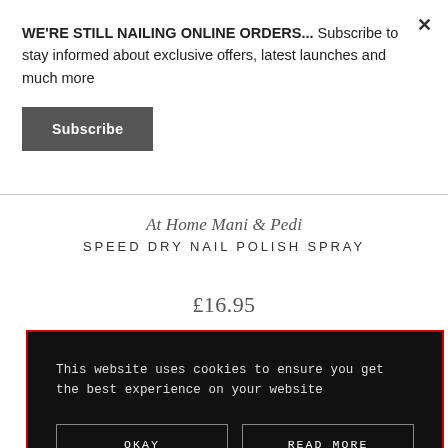WE'RE STILL NAILING ONLINE ORDERS... Subscribe to stay informed about exclusive offers, latest launches and much more
Subscribe
At Home Mani & Pedi
SPEED DRY NAIL POLISH SPRAY
£16.95
This website uses cookies to ensure you get the best experience on your website
OKAY
READ MORE